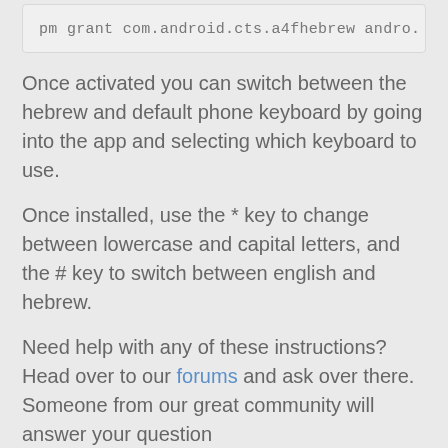pm grant com.android.cts.a4fhebrew andro.
Once activated you can switch between the hebrew and default phone keyboard by going into the app and selecting which keyboard to use.
Once installed, use the * key to change between lowercase and capital letters, and the # key to switch between english and hebrew.
Need help with any of these instructions? Head over to our forums and ask over there. Someone from our great community will answer your question
Download here